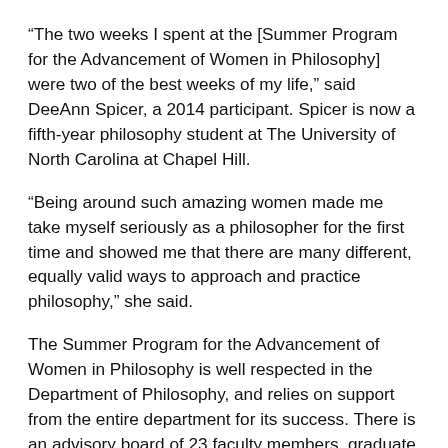“The two weeks I spent at the [Summer Program for the Advancement of Women in Philosophy] were two of the best weeks of my life,” said DeeAnn Spicer, a 2014 participant. Spicer is now a fifth-year philosophy student at The University of North Carolina at Chapel Hill.
“Being around such amazing women made me take myself seriously as a philosopher for the first time and showed me that there are many different, equally valid ways to approach and practice philosophy,” she said.
The Summer Program for the Advancement of Women in Philosophy is well respected in the Department of Philosophy, and relies on support from the entire department for its success. There is an advisory board of 23 faculty members, graduate students and staff who help organize program dates and speakers, seek funding sources, and review applications and select attendees.